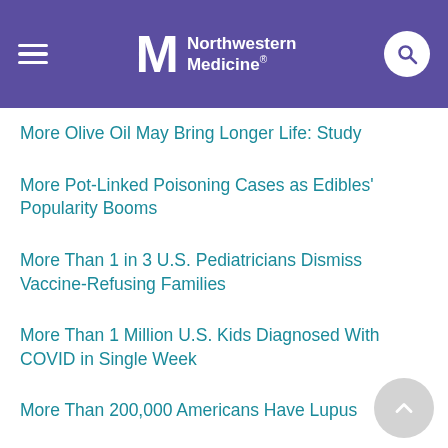Northwestern Medicine
More Olive Oil May Bring Longer Life: Study
More Pot-Linked Poisoning Cases as Edibles' Popularity Booms
More Than 1 in 3 U.S. Pediatricians Dismiss Vaccine-Refusing Families
More Than 1 Million U.S. Kids Diagnosed With COVID in Single Week
More Than 200,000 Americans Have Lupus
More Than Half of Young U.S. Adults Have a Chronic Health Condition
More Young Adults in the U.S. Are Saying No to Alcohol
More Young Americans Are Dying of Heart